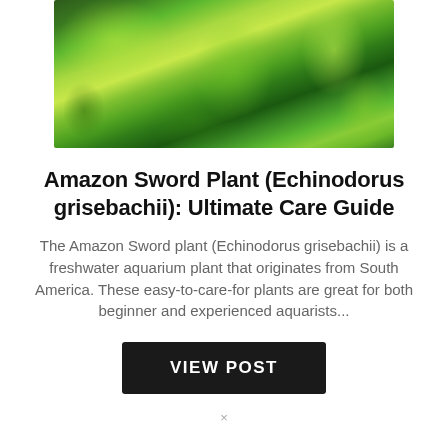[Figure (photo): Photograph of Amazon Sword aquarium plants (Echinodorus grisebachii) with bright green leaves in a freshwater aquarium tank]
Amazon Sword Plant (Echinodorus grisebachii): Ultimate Care Guide
The Amazon Sword plant (Echinodorus grisebachii) is a freshwater aquarium plant that originates from South America. These easy-to-care-for plants are great for both beginner and experienced aquarists...
VIEW POST
×